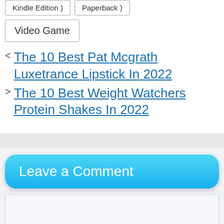Kindle Edition ) Paperback )
Video Game
< The 10 Best Pat Mcgrath Luxetrance Lipstick In 2022
> The 10 Best Weight Watchers Protein Shakes In 2022
Leave a Comment